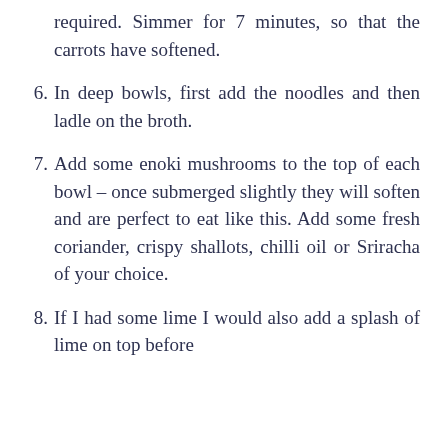required. Simmer for 7 minutes, so that the carrots have softened.
6. In deep bowls, first add the noodles and then ladle on the broth.
7. Add some enoki mushrooms to the top of each bowl – once submerged slightly they will soften and are perfect to eat like this. Add some fresh coriander, crispy shallots, chilli oil or Sriracha of your choice.
8. If I had some lime I would also add a splash of lime on top before